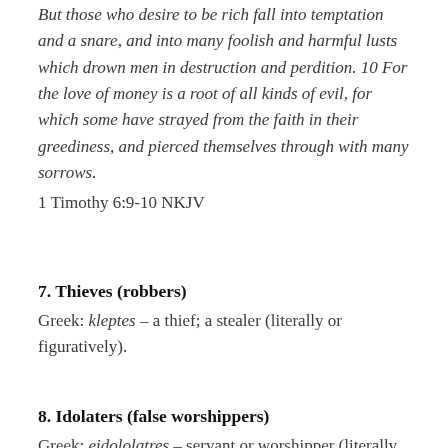But those who desire to be rich fall into temptation and a snare, and into many foolish and harmful lusts which drown men in destruction and perdition. 10 For the love of money is a root of all kinds of evil, for which some have strayed from the faith in their greediness, and pierced themselves through with many sorrows.
1 Timothy 6:9-10 NKJV
7. Thieves (robbers)
Greek: kleptes – a thief; a stealer (literally or figuratively).
8. Idolaters (false worshippers)
Greek: eidololatres – servant or worshipper (literally or figuratively) of an image or an idol.